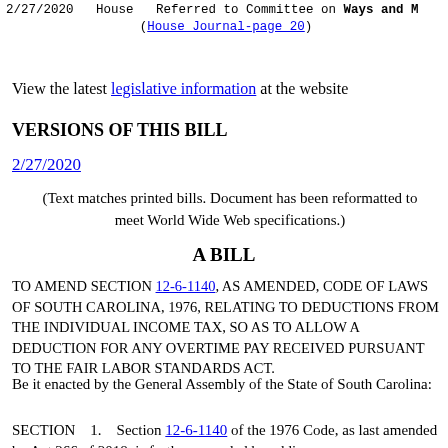2/27/2020   House   Referred to Committee on Ways and M
(House Journal-page 20)
View the latest legislative information at the website
VERSIONS OF THIS BILL
2/27/2020
(Text matches printed bills. Document has been reformatted to meet World Wide Web specifications.)
A BILL
TO AMEND SECTION 12-6-1140, AS AMENDED, CODE OF LAWS OF SOUTH CAROLINA, 1976, RELATING TO DEDUCTIONS FROM THE INDIVIDUAL INCOME TAX, SO AS TO ALLOW A DEDUCTION FOR ANY OVERTIME PAY RECEIVED PURSUANT TO THE FAIR LABOR STANDARDS ACT.
Be it enacted by the General Assembly of the State of South Carolina:
SECTION    1.    Section 12-6-1140 of the 1976 Code, as last amended by Act 266 of 2018, is further amended by adding an